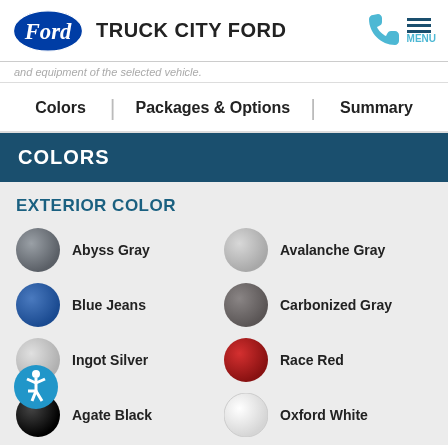Ford — TRUCK CITY FORD
and equipment of the selected vehicle.
Colors | Packages & Options | Summary
COLORS
EXTERIOR COLOR
Abyss Gray
Avalanche Gray
Blue Jeans
Carbonized Gray
Ingot Silver
Race Red
Agate Black
Oxford White